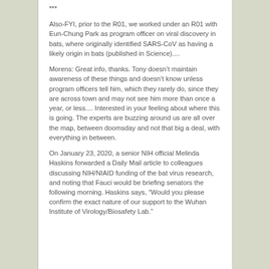***
Also-FYI, prior to the R01, we worked under an R01 with Eun-Chung Park as program officer on viral discovery in bats, where originally identified SARS-CoV as having a likely origin in bats (published in Science)....
Morens: Great info, thanks. Tony doesn’t maintain awareness of these things and doesn’t know unless program officers tell him, which they rarely do, since they are across town and may not see him more than once a year, or less.... Interested in your feeling about where this is going. The experts are buzzing around us are all over the map, between doomsday and not that big a deal, with everything in between.
On January 23, 2020, a senior NIH official Melinda Haskins forwarded a Daily Mail article to colleagues discussing NIH/NIAID funding of the bat virus research, and noting that Fauci would be briefing senators the following morning. Haskins says, "Would you please confirm the exact nature of our support to the Wuhan Institute of Virology/Biosafety Lab."